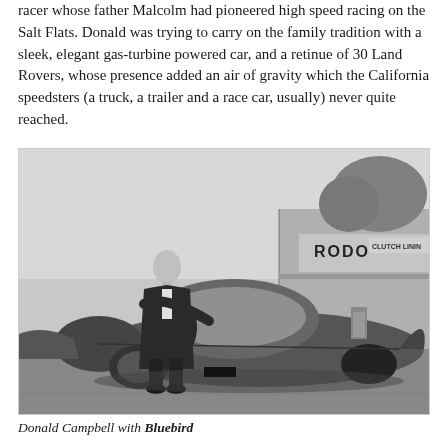racer whose father Malcolm had pioneered high speed racing on the Salt Flats. Donald was trying to carry on the family tradition with a sleek, elegant gas-turbine powered car, and a retinue of 30 Land Rovers, whose presence added an air of gravity which the California speedsters (a truck, a trailer and a race car, usually) never quite reached.
[Figure (photo): Black and white photograph of Donald Campbell standing next to the Bluebird land speed record car, in front of a building with a sign reading 'RODO CLUTCH LINING'. A man in an apron stands in the background.]
Donald Campbell with Bluebird